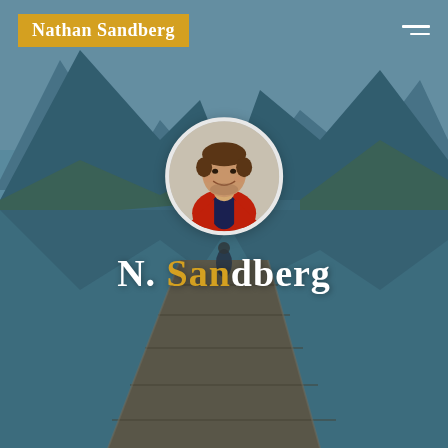[Figure (photo): Full-page background photo of a wooden dock/pier leading into a calm mountain lake, surrounded by tall rocky mountains with forest on the slopes, with a figure standing at the end of the dock. Teal-blue atmospheric color.]
Nathan Sandberg
[Figure (photo): Circular profile photo of a young man with brown hair, smiling, wearing a red and dark jacket, shown from shoulders up against a light background.]
N. Sandberg